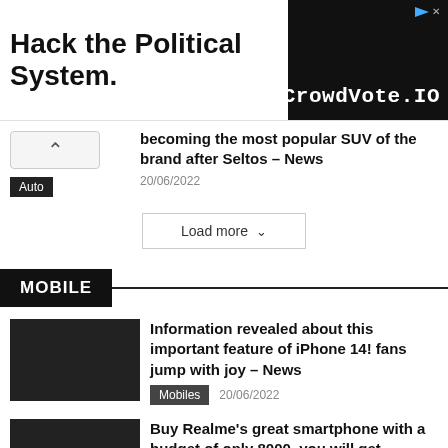[Figure (other): Advertisement banner: 'Hack the Political System.' with CrowdVote.IO logo on black background]
becoming the most popular SUV of the brand after Seltos – News
20/06/2022
Auto
Load more
MOBILE
Information revealed about this important feature of iPhone 14! fans jump with joy – News
20/06/2022
Mobiles
Buy Realme's great smartphone with a budget of only 8000, you will get 5000mAh battery – News
20/06/2022